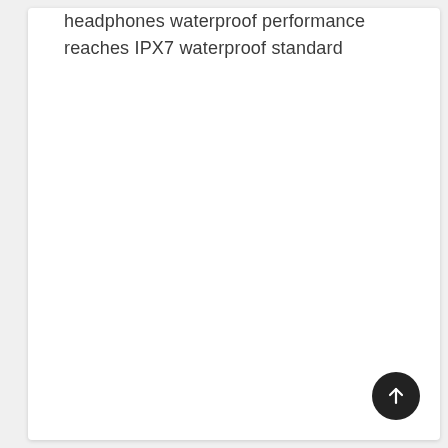headphones waterproof performance reaches IPX7 waterproof standard
[Figure (other): Back to top button — dark circular button with upward arrow icon in the bottom-right corner]